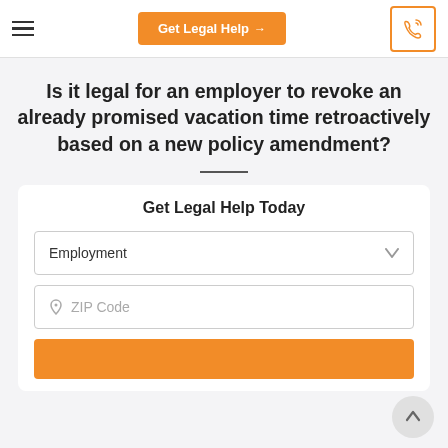Get Legal Help →
Is it legal for an employer to revoke an already promised vacation time retroactively based on a new policy amendment?
Get Legal Help Today
Employment
ZIP Code